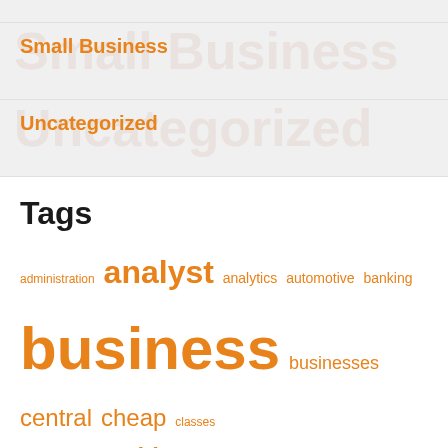Small Business
Uncategorized
Tags
administration analyst analytics automotive banking business businesses central cheap classes college consulting credit development district education emerging facebook fashion health ideas improvement intelligence leisure management manager mastercard online planning project proposal school services small start starting state strategies strategy technologies